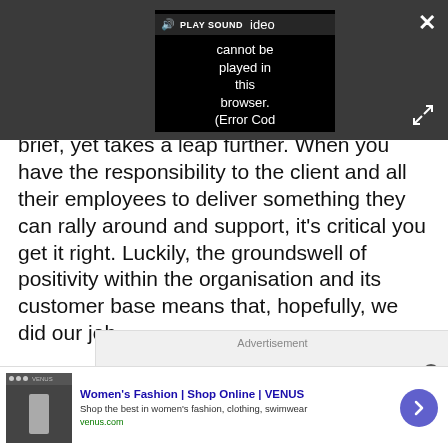[Figure (screenshot): Video player overlay on dark grey background showing 'PLAY SOUND' button and error message 'Video cannot be played in this browser. (Error Cod' with a close X button and expand/fullscreen icon]
brief, yet takes a leap further. When you have the responsibility to the client and all their employees to deliver something they can rally around and support, it's critical you get it right. Luckily, the groundswell of positivity within the organisation and its customer base means that, hopefully, we did our job.
Advertisement
[Figure (screenshot): Bottom advertisement banner for Women's Fashion | Shop Online | VENUS with thumbnail image, title, description 'Shop the best in women's fashion, clothing, swimwear', URL 'venus.com', and a purple arrow button]